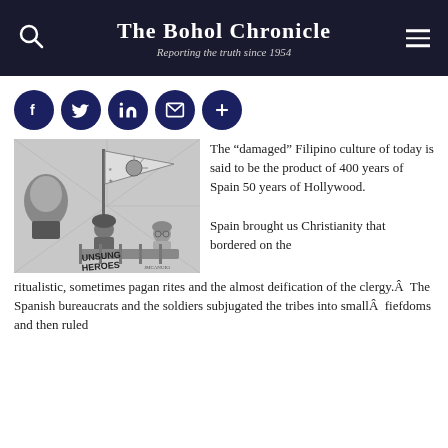The Bohol Chronicle
Reporting the truth since 1954
[Figure (illustration): Black and white illustration showing a man's face on the left, a Philippine flag being held, soldiers/figures with helmets, and text reading 'UNSUNG HEROES' at the bottom.]
The “damaged” Filipino culture of today is said to be the product of 400 years of Spain 50 years of Hollywood.
Spain brought us Christianity that bordered on the ritualistic, sometimes pagan rites and the almost deification of the clergy.  The Spanish bureaucrats and the soldiers subjugated the tribes into small  fiefdoms and then ruled